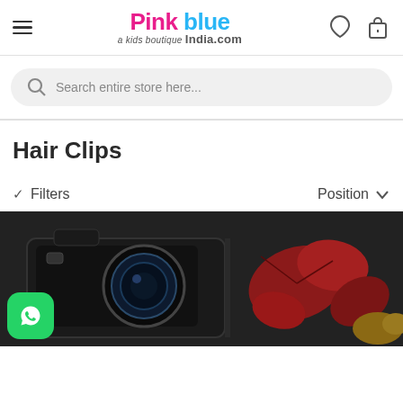[Figure (logo): Pink Blue India kids boutique logo with hamburger menu and header icons]
Search entire store here...
Hair Clips
✓ Filters    Position ∨
[Figure (photo): Photo of a camera with autumn leaves, partially visible at bottom of page, with WhatsApp button overlay]